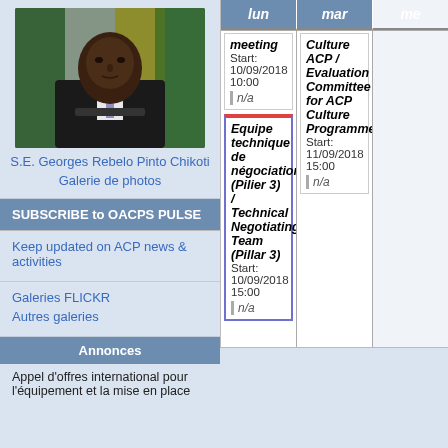[Figure (photo): Portrait photo of S.E. Georges Rebelo Pinto Chikoti, a man in a dark suit speaking at a podium with flags in background]
S.E. Georges Rebelo Pinto Chikoti
Galerie de photos
SUBSCRIBE to OACPS PULSE
Keep updated on ACP news & activities
Galeries FLICKR
Autres galeries
Annonces
Appel d'offres international pour l'équipement et la mise en place
| lun | mar | mer |
| --- | --- | --- |
| meeting
Start: 10/09/2018 10:00
n/a | Culture ACP / Evaluation Committee for ACP Culture Programme
Start: 11/09/2018 15:00
n/a |  |
| Equipe technique de négociation (Pilier 3) / Technical Negotiating Team (Pillar 3)
Start: 10/09/2018 15:00
n/a |  |  |